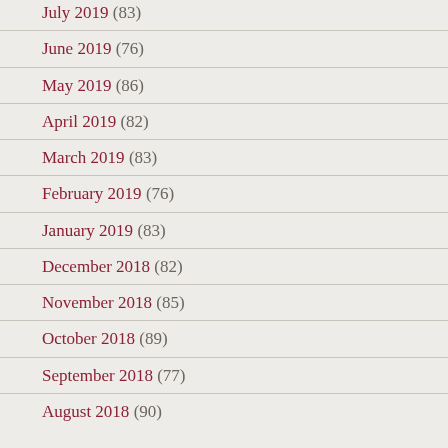July 2019 (83)
June 2019 (76)
May 2019 (86)
April 2019 (82)
March 2019 (83)
February 2019 (76)
January 2019 (83)
December 2018 (82)
November 2018 (85)
October 2018 (89)
September 2018 (77)
August 2018 (90)